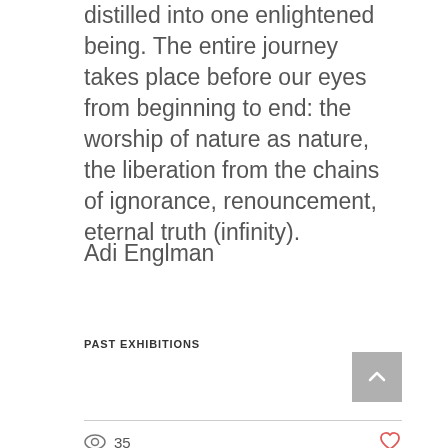distilled into one enlightened being. The entire journey takes place before our eyes from beginning to end: the worship of nature as nature, the liberation from the chains of ignorance, renouncement, eternal truth (infinity).
Adi Englman
PAST EXHIBITIONS
[Figure (infographic): Social sharing icons: Facebook, Twitter, LinkedIn, link/chain icon. Back-to-top button (grey square with upward chevron).]
35